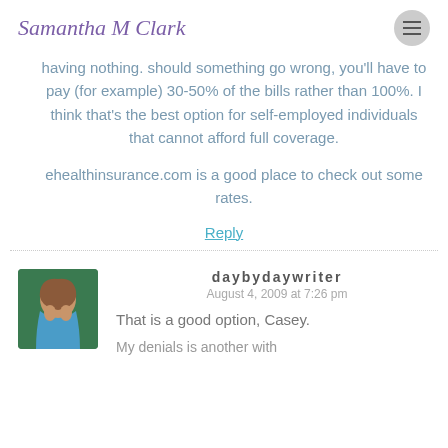Samantha M Clark
having nothing. should something go wrong, you'll have to pay (for example) 30-50% of the bills rather than 100%. I think that's the best option for self-employed individuals that cannot afford full coverage.
ehealthinsurance.com is a good place to check out some rates.
Reply
daybydaywriter
August 4, 2009 at 7:26 pm
That is a good option, Casey.
My denials is another with